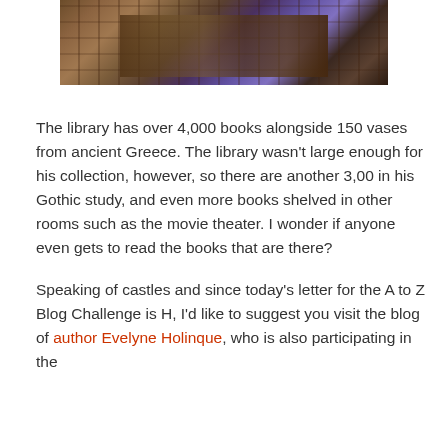[Figure (photo): Photograph of an ornate interior room, showing what appears to be a richly decorated space with wooden furniture, patterned rugs/carpets, and colorful elements suggesting a library or study.]
The library has over 4,000 books alongside 150 vases from ancient Greece. The library wasn't large enough for his collection, however, so there are another 3,00 in his Gothic study, and even more books shelved in other rooms such as the movie theater. I wonder if anyone even gets to read the books that are there?
Speaking of castles and since today's letter for the A to Z Blog Challenge is H, I'd like to suggest you visit the blog of author Evelyne Holinque, who is also participating in the